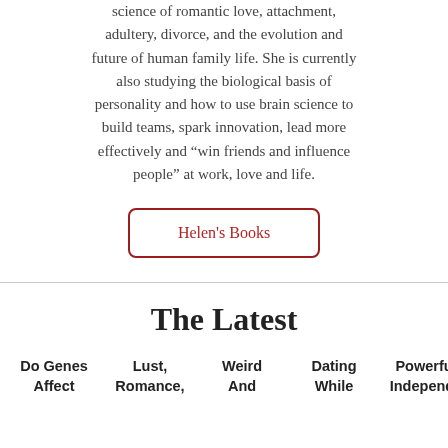science of romantic love, attachment, adultery, divorce, and the evolution and future of human family life. She is currently also studying the biological basis of personality and how to use brain science to build teams, spark innovation, lead more effectively and “win friends and influence people” at work, love and life.
Helen's Books
The Latest
Do Genes Affect Lust, Romance, Weird And Dating While Powerful Independe